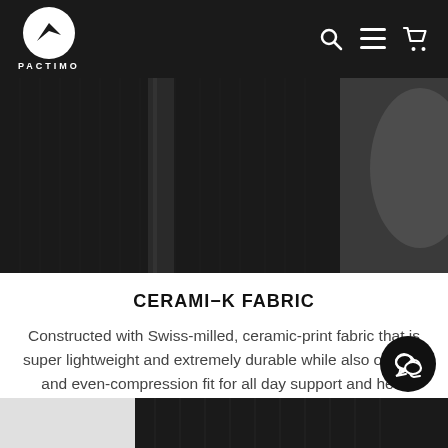PACTIMO
[Figure (photo): Close-up photo of dark ceramic-print fabric texture with dotted pattern, showing zipper detail]
CERAMI-K FABRIC
Constructed with Swiss-milled, ceramic-print fabric that is super lightweight and extremely durable while also offering and even-compression fit for all day support and heat dissipation.
[Figure (photo): Partial bottom strip showing fabric close-up on dark background and light grey area on left]